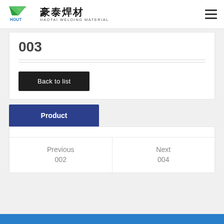豪泰焊材 HAOTAI WELDING MATERIAL
003
Back to list
Product
Previous
002
Next
004